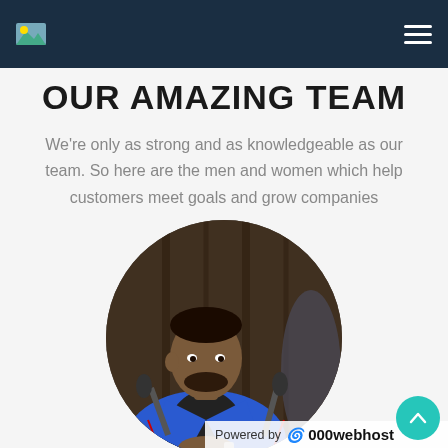Navigation bar with logo and hamburger menu
OUR AMAZING TEAM
We're only as strong and as knowledgeable as our team. So here are the men and women which help customers meet goals and grow companies
[Figure (photo): Circular cropped photo of a man in a blue blazer seated at a conference table with microphones]
Powered by 000webhost